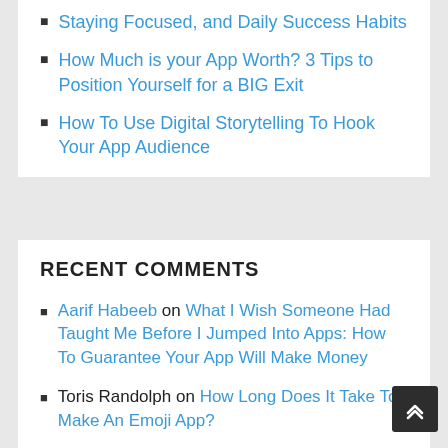Staying Focused, and Daily Success Habits
How Much is your App Worth? 3 Tips to Position Yourself for a BIG Exit
How To Use Digital Storytelling To Hook Your App Audience
RECENT COMMENTS
Aarif Habeeb on What I Wish Someone Had Taught Me Before I Jumped Into Apps: How To Guarantee Your App Will Make Money
Toris Randolph on How Long Does It Take To Make An Emoji App?
Mukesh on Add Your Own Emoji